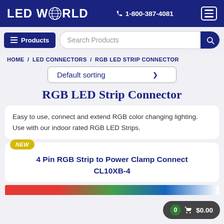[Figure (logo): LED World logo in white on dark navy header bar with phone number 1-800-387-4081 and hamburger menu icon]
LED WORLD  1-800-387-4081
Products
Search Products
HOME / LED CONNECTORS / RGB LED STRIP CONNECTOR
Default sorting
RGB LED Strip Connector
Easy to use, connect and extend RGB color changing lighting. Use with our indoor rated RGB LED Strips.
NEW
4 Pin RGB Strip to Power Clamp Connect
CL10XB-4
0  $0.00